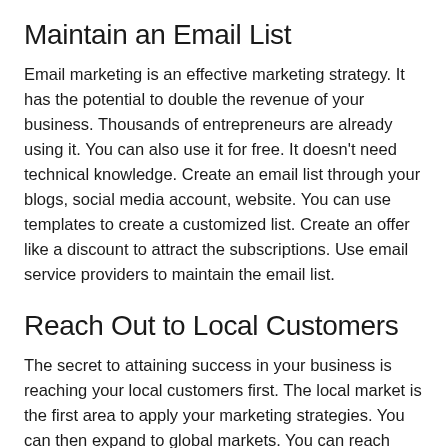Maintain an Email List
Email marketing is an effective marketing strategy. It has the potential to double the revenue of your business. Thousands of entrepreneurs are already using it. You can also use it for free. It doesn't need technical knowledge. Create an email list through your blogs, social media account, website. You can use templates to create a customized list. Create an offer like a discount to attract the subscriptions. Use email service providers to maintain the email list.
Reach Out to Local Customers
The secret to attaining success in your business is reaching your local customers first. The local market is the first area to apply your marketing strategies. You can then expand to global markets. You can reach your local customers in many ways.